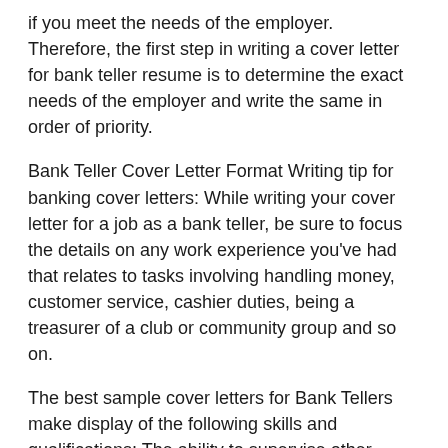if you meet the needs of the employer. Therefore, the first step in writing a cover letter for bank teller resume is to determine the exact needs of the employer and write the same in order of priority.
Bank Teller Cover Letter Format Writing tip for banking cover letters: While writing your cover letter for a job as a bank teller, be sure to focus the details on any work experience you've had that relates to tasks involving handling money, customer service, cashier duties, being a treasurer of a club or community group and so on.
The best sample cover letters for Bank Tellers make display of the following skills and qualifications: The ability to supervise other workers, for head tellers Attention to details and observation spirit.
Bank Teller Cover Letter with No Experience For those who want to work in financial field but they do not have any